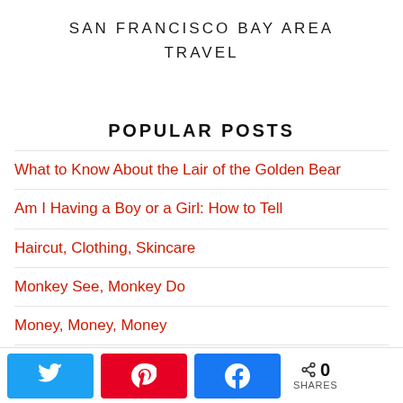SAN FRANCISCO BAY AREA TRAVEL
POPULAR POSTS
What to Know About the Lair of the Golden Bear
Am I Having a Boy or a Girl: How to Tell
Haircut, Clothing, Skincare
Monkey See, Monkey Do
Money, Money, Money
What to do when you have too many Audible cr...
0 SHARES